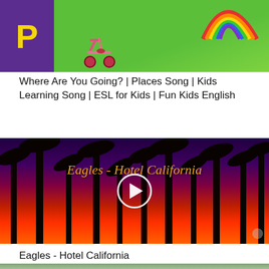[Figure (screenshot): Video thumbnail for kids educational song - colorful cartoon with purple background and green scene with scooter and rainbow]
Where Are You Going? | Places Song | Kids Learning Song | ESL for Kids | Fun Kids English
[Figure (screenshot): Video thumbnail for Eagles - Hotel California showing palm tree silhouettes against orange and purple sunset sky with play button and orange italic text overlay]
Eagles - Hotel California
[Figure (photo): Partially visible thumbnail at bottom of page showing trees/park scene]